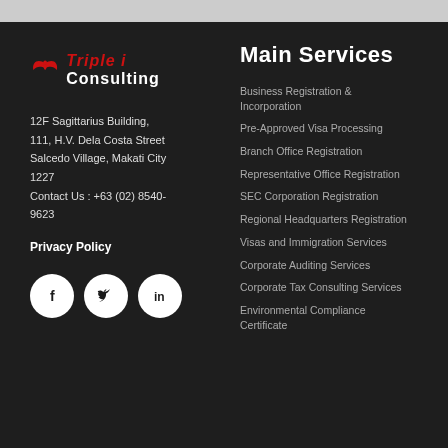[Figure (logo): Triple i Consulting logo with red stylized bird/wings icon followed by text 'Triple i Consulting']
12F Sagittarius Building, 111, H.V. Dela Costa Street Salcedo Village, Makati City 1227 Contact Us : +63 (02) 8540-9623
Privacy Policy
[Figure (illustration): Three social media icon circles: Facebook (f), Twitter (bird), LinkedIn (in)]
Main Services
Business Registration & Incorporation
Pre-Approved Visa Processing
Branch Office Registration
Representative Office Registration
SEC Corporation Registration
Regional Headquarters Registration
Visas and Immigration Services
Corporate Auditing Services
Corporate Tax Consulting Services
Environmental Compliance Certificate